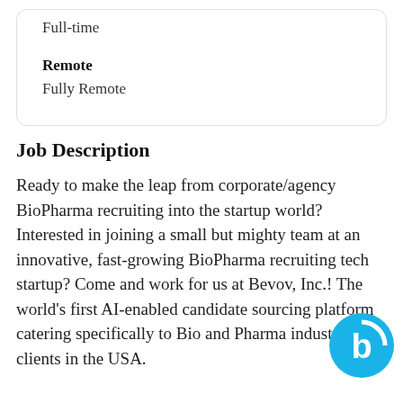Full-time
Remote
Fully Remote
Job Description
Ready to make the leap from corporate/agency BioPharma recruiting into the startup world? Interested in joining a small but mighty team at an innovative, fast-growing BioPharma recruiting tech startup? Come and work for us at Bevov, Inc.! The world's first AI-enabled candidate sourcing platform catering specifically to Bio and Pharma industry clients in the USA.